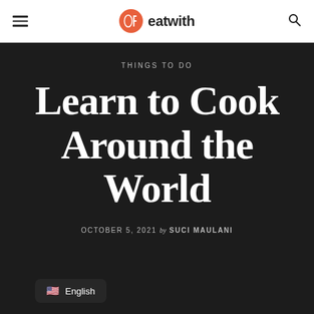eatwith
THINGS TO DO
Learn to Cook Around the World
OCTOBER 5, 2021 by SUCI MAULANI
English